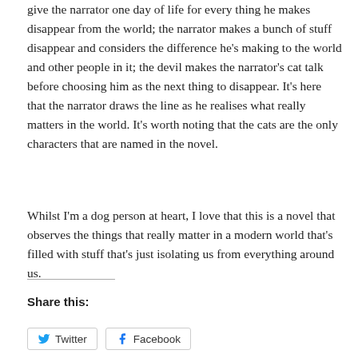give the narrator one day of life for every thing he makes disappear from the world; the narrator makes a bunch of stuff disappear and considers the difference he's making to the world and other people in it; the devil makes the narrator's cat talk before choosing him as the next thing to disappear. It's here that the narrator draws the line as he realises what really matters in the world. It's worth noting that the cats are the only characters that are named in the novel.
Whilst I'm a dog person at heart, I love that this is a novel that observes the things that really matter in a modern world that's filled with stuff that's just isolating us from everything around us.
Share this: